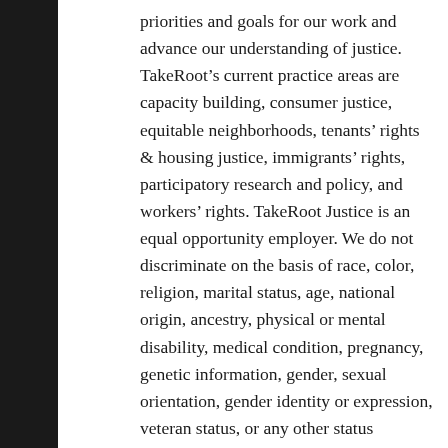priorities and goals for our work and advance our understanding of justice. TakeRoot's current practice areas are capacity building, consumer justice, equitable neighborhoods, tenants' rights & housing justice, immigrants' rights, participatory research and policy, and workers' rights. TakeRoot Justice is an equal opportunity employer. We do not discriminate on the basis of race, color, religion, marital status, age, national origin, ancestry, physical or mental disability, medical condition, pregnancy, genetic information, gender, sexual orientation, gender identity or expression, veteran status, or any other status protected under the law. TakeRoot encourages applications from people with diverse backgrounds, including, but not limited to, women, people of color, immigrants, people with disabilities,